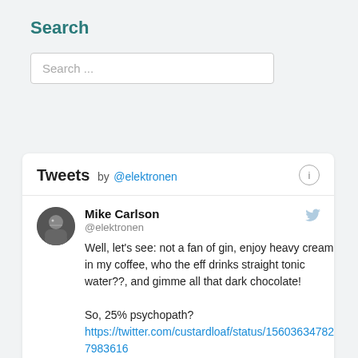Search
Search ...
Tweets by @elektronen
Mike Carlson
@elektronen
Well, let's see: not a fan of gin, enjoy heavy cream in my coffee, who the eff drinks straight tonic water??, and gimme all that dark chocolate!

So, 25% psychopath?
https://twitter.com/custardloaf/status/1560363478207983616
4h